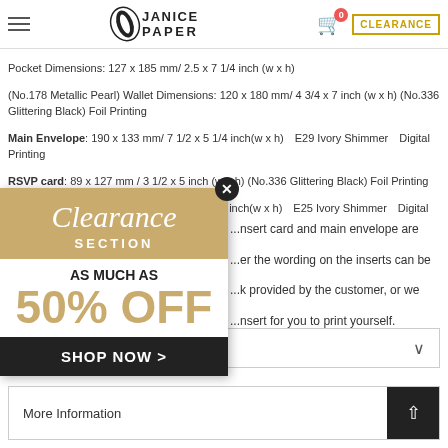Janice Paper - Navigation header with logo, hamburger menu, cart, and CLEARANCE badge
Pocket Dimensions: 127 x 185 mm/ 2.5 x 7 1/4 inch (w x h) (No.178 Metallic Pearl) Wallet Dimensions: 120 x 180 mm/ 4 3/4 x 7 inch (w x h) (No.336 Glittering Black) Foil Printing
Main Envelope: 190 x 133 mm/ 7 1/2 x 5 1/4 inch(w x h)　E29 Ivory Shimmer　Digital Printing
RSVP card: 89 x 127 mm / 3 1/2 x 5 inch (w x h) (No.336 Glittering Black) Foil Printing
RSVP Envelope: 130 x 97 mm/ 5 1/5 x 3 4/5 inch(w x h)　E25 Ivory Shimmer　Digital Printing
Please Note:
...insert card and main envelope are ...er the wording on the inserts can be ...k provided by the customer, or we ...sert for you to print yourself. ...SVP card with the set or without.
[Figure (other): Clearance section promotional popup overlay with gold background, script 'Clearance' text, 'SECTION', 'AS MUCH AS', '50% OFF' in gold text, and 'SHOP NOW >' button in black]
Shipping & Delivery
More Information